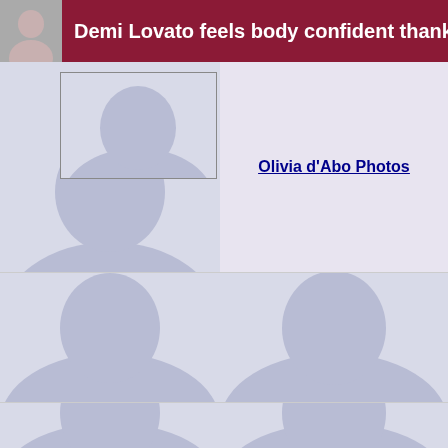Demi Lovato feels body confident thank
[Figure (photo): Default user silhouette placeholder image with border box]
[Figure (photo): Lavender panel with Olivia d'Abo Photos link]
[Figure (photo): Default user silhouette placeholder – middle left]
[Figure (photo): Default user silhouette placeholder – middle right]
[Figure (photo): Default user silhouette placeholder – bottom left partial]
[Figure (photo): Default user silhouette placeholder – bottom right partial]
Olivia d'Abo Photos